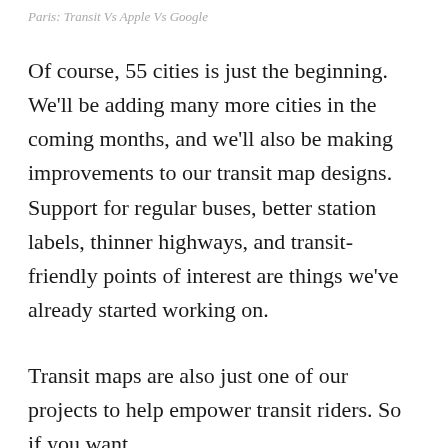Paris: Transit Vs Apple Vs Google
Of course, 55 cities is just the beginning. We’ll be adding many more cities in the coming months, and we’ll also be making improvements to our transit map designs. Support for regular buses, better station labels, thinner highways, and transit-friendly points of interest are things we’ve already started working on.
Transit maps are also just one of our projects to help empower transit riders. So if you want…